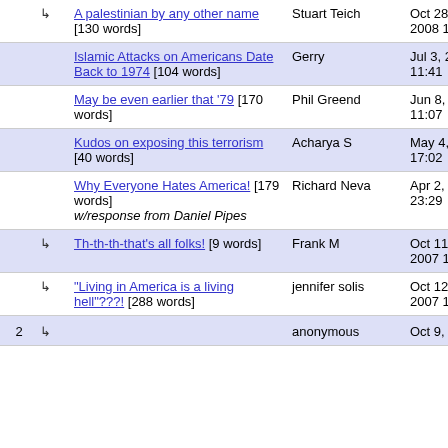|  |  | Title/Content | Author | Date |
| --- | --- | --- | --- | --- |
|  | ↳ | A palestinian by any other name [130 words] | Stuart Teich | Oct 28, 2008 18:52 |
|  |  | Islamic Attacks on Americans Date Back to 1974 [104 words] | Gerry | Jul 3, 2007 11:41 |
|  |  | May be even earlier that '79 [170 words] | Phil Greend | Jun 8, 2007 11:07 |
|  |  | Kudos on exposing this terrorism [40 words] | Acharya S | May 4, 2007 17:02 |
|  |  | Why Everyone Hates America! [179 words] w/response from Daniel Pipes | Richard Neva | Apr 2, 2007 23:29 |
|  | ↳ | Th-th-th-that's all folks! [9 words] | Frank M | Oct 11, 2007 17:42 |
|  | ↳ | "Living in America is a living hell"???! [288 words] | jennifer solis | Oct 12, 2007 14:11 |
| 2 | ↳ |  | anonymous | Oct 9, |